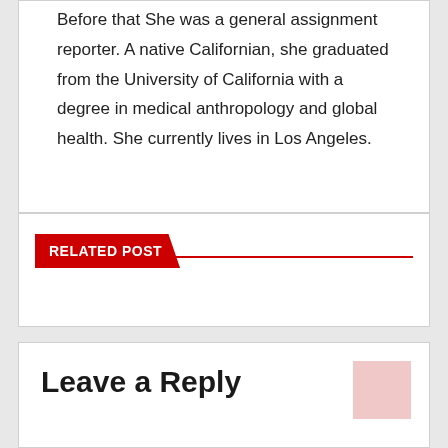Before that She was a general assignment reporter. A native Californian, she graduated from the University of California with a degree in medical anthropology and global health. She currently lives in Los Angeles.
RELATED POST
Leave a Reply